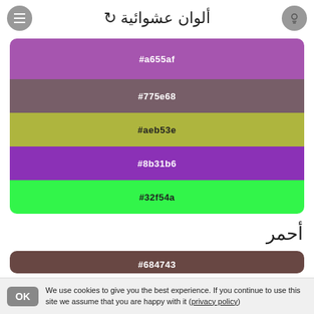ألوان عشوائية ↻
[Figure (infographic): Color palette card with 5 color swatches: #a655af (purple), #775e68 (dark mauve), #aeb53e (olive yellow), #8b31b6 (bright purple), #32f54a (bright green)]
أحمر
[Figure (infographic): Color palette card with 4 visible color swatches: #684743 (dark brown), #a15335 (rust brown), #d0a097 (dusty rose), #bc441a (orange-red)]
We use cookies to give you the best experience. If you continue to use this site we assume that you are happy with it (privacy policy)